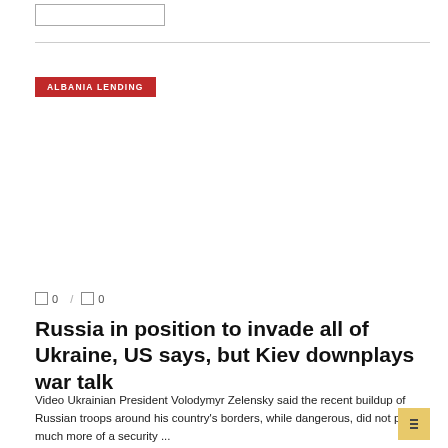[Figure (other): Small rectangular outline box at top left, likely a logo or icon placeholder]
ALBANIA LENDING
0  /  0
Russia in position to invade all of Ukraine, US says, but Kiev downplays war talk
Video Ukrainian President Volodymyr Zelensky said the recent buildup of Russian troops around his country's borders, while dangerous, did not pose much more of a security ...